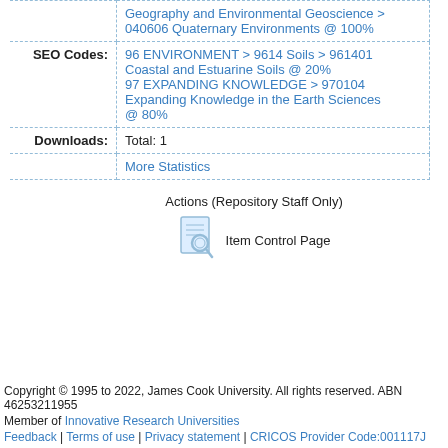|  | Geography and Environmental Geoscience > 040606 Quaternary Environments @ 100% |
| SEO Codes: | 96 ENVIRONMENT > 9614 Soils > 961401 Coastal and Estuarine Soils @ 20%
97 EXPANDING KNOWLEDGE > 970104 Expanding Knowledge in the Earth Sciences @ 80% |
| Downloads: | Total: 1 |
|  | More Statistics |
Actions (Repository Staff Only)
Item Control Page
Copyright © 1995 to 2022, James Cook University. All rights reserved. ABN 46253211955
Member of Innovative Research Universities
Feedback | Terms of use | Privacy statement | CRICOS Provider Code:001117J